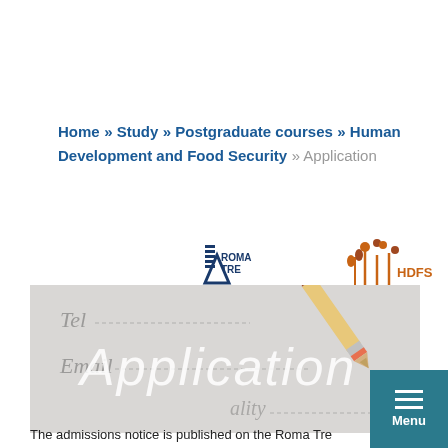Home » Study » Postgraduate courses » Human Development and Food Security » Application
[Figure (logo): Roma Tre Università degli Studi logo (left) and HDFS logo (right)]
[Figure (photo): Hero image with application form and pencil in background, overlaid with italic white text 'Application']
The admissions notice is published on the Roma Tre